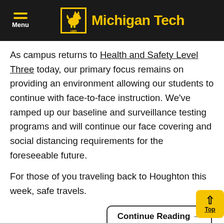Michigan Tech
As campus returns to Health and Safety Level Three today, our primary focus remains on providing an environment allowing our students to continue with face-to-face instruction. We’ve ramped up our baseline and surveillance testing programs and will continue our face covering and social distancing requirements for the foreseeable future.
For those of you traveling back to Houghton this week, safe travels.
Continue Reading →
Top